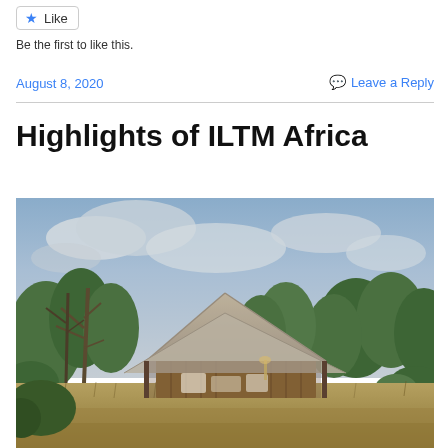Like
Be the first to like this.
August 8, 2020
Leave a Reply
Highlights of ILTM Africa
[Figure (photo): Safari tent / luxury glamping structure with a canvas roof surrounded by African bush trees and tall dry grass, photographed at dusk with a cloudy blue-grey sky.]